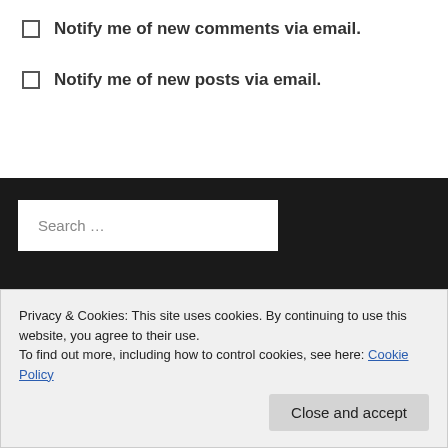Notify me of new comments via email.
Notify me of new posts via email.
Search …
Privacy & Cookies: This site uses cookies. By continuing to use this website, you agree to their use.
To find out more, including how to control cookies, see here: Cookie Policy
Close and accept